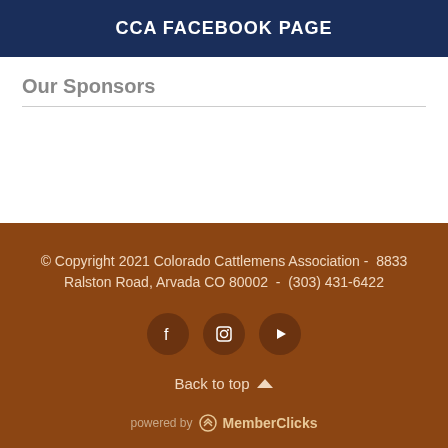CCA FACEBOOK PAGE
Our Sponsors
© Copyright 2021 Colorado Cattlemens Association - 8833 Ralston Road, Arvada CO 80002 - (303) 431-6422
Back to top
powered by MemberClicks